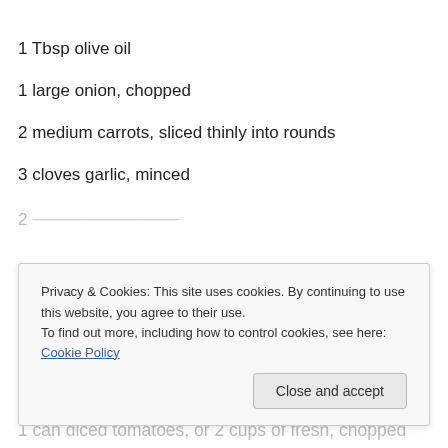1 Tbsp olive oil
1 large onion, chopped
2 medium carrots, sliced thinly into rounds
3 cloves garlic, minced
2 stalks celery, thinly sliced (partial, obscured)
Privacy & Cookies: This site uses cookies. By continuing to use this website, you agree to their use. To find out more, including how to control cookies, see here: Cookie Policy
1 can diced tomatoes, or 2 cups of fresh, chopped